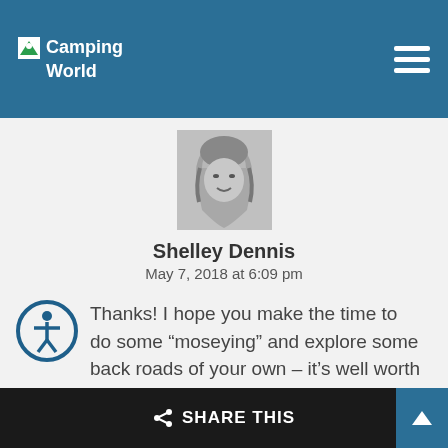Camping World
[Figure (photo): Profile photo of Shelley Dennis, a woman with light hair, black and white photo]
Shelley Dennis
May 7, 2018 at 6:09 pm
Thanks! I hope you make the time to do some “moseying” and explore some back roads of your own – it’s well worth the effort!
Reply
SHARE THIS